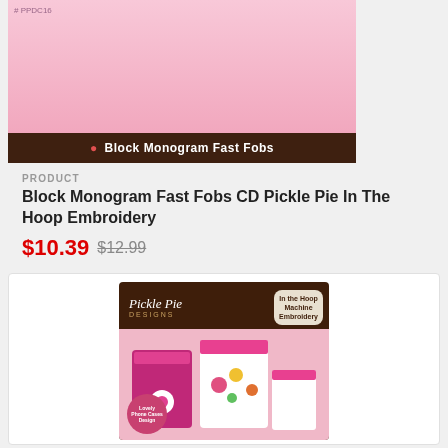[Figure (photo): Product image of Block Monogram Fast Fobs on pink background with brown bar at bottom reading 'Block Monogram Fast Fobs']
PRODUCT
Block Monogram Fast Fobs CD Pickle Pie In The Hoop Embroidery
$10.39 $12.99
[Figure (photo): Pickle Pie Designs product package showing embroidered bags on pink background, with 'In the Hoop Machine Embroidery' badge]